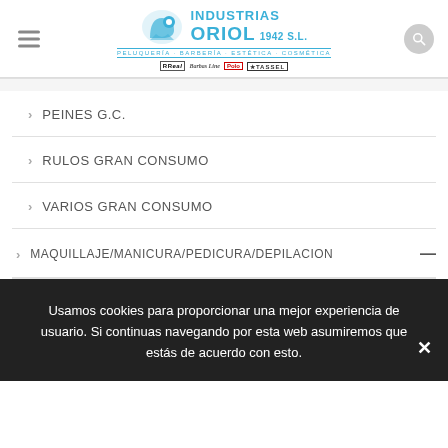INDUSTRIAS ORIOL 1942 S.L. — PELUQUERÍA · BARBERÍA · ESTÉTICA · COSMÉTICA
PEINES G.C.
RULOS GRAN CONSUMO
VARIOS GRAN CONSUMO
MAQUILLAJE/MANICURA/PEDICURA/DEPILACION
Usamos cookies para proporcionar una mejor experiencia de usuario. Si continuas navegando por esta web asumiremos que estás de acuerdo con esto.